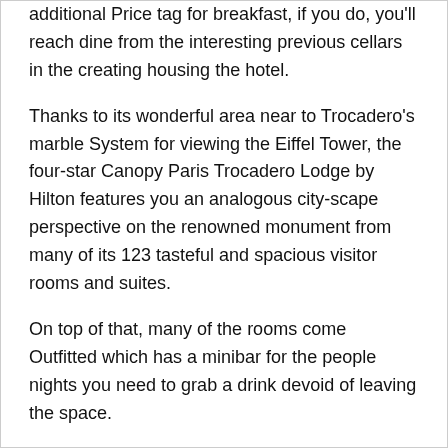additional Price tag for breakfast, if you do, you'll reach dine from the interesting previous cellars in the creating housing the hotel.
Thanks to its wonderful area near to Trocadero's marble System for viewing the Eiffel Tower, the four-star Canopy Paris Trocadero Lodge by Hilton features you an analogous city-scape perspective on the renowned monument from many of its 123 tasteful and spacious visitor rooms and suites.
On top of that, many of the rooms come Outfitted which has a minibar for the people nights you need to grab a drink devoid of leaving the space.
The vast statue "Tuileries Yard" is lower than one.four km absent. The town centre lies in just 3 km from the